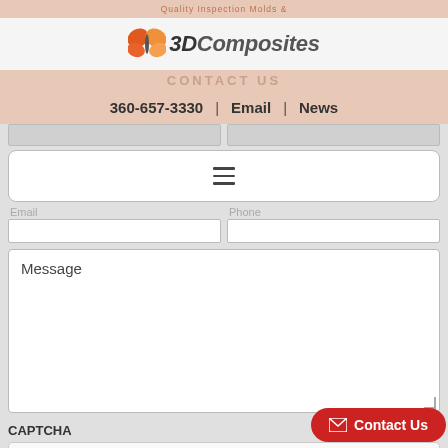Quality Inspection Molds &
[Figure (logo): 3DComposites logo with orange butterfly icon and bold italic text]
CONTACT US
360-657-3330  |  Email  |  News
[Figure (screenshot): Web form with hamburger menu button, Email and Phone input fields, Message textarea, CAPTCHA section with I'm not a robot checkbox, and red Contact Us floating button]